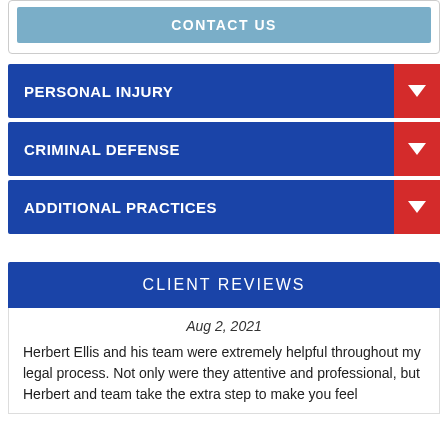CONTACT US
PERSONAL INJURY
CRIMINAL DEFENSE
ADDITIONAL PRACTICES
CLIENT REVIEWS
Aug 2, 2021
Herbert Ellis and his team were extremely helpful throughout my legal process. Not only were they attentive and professional, but Herbert and team take the extra step to make you feel